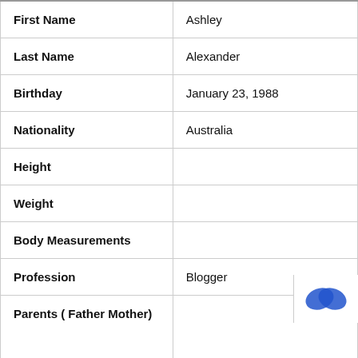| Field | Value |
| --- | --- |
| First Name | Ashley |
| Last Name | Alexander |
| Birthday | January 23, 1988 |
| Nationality | Australia |
| Height |  |
| Weight |  |
| Body Measurements |  |
| Profession | Blogger |
| Parents ( Father Mother) |  |